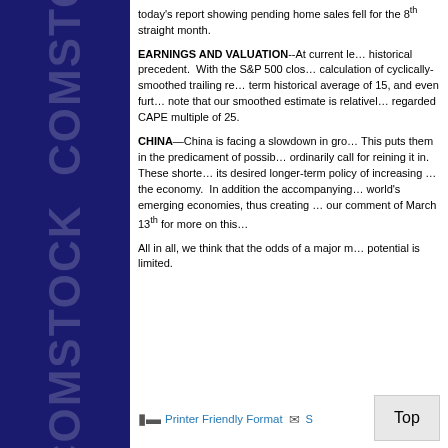today's report showing pending home sales fell for the 8th straight month.
EARNINGS AND VALUATION--At current levels, valuations have little historical precedent. With the S&P 500 closing near these levels, our calculation of cyclically-smoothed trailing returns shows a P/E above the long-term historical average of 15, and even further above that level. We also note that our smoothed estimate is relatively close to the widely-regarded CAPE multiple of 25.
CHINA—China is facing a slowdown in growth and rising inflation. This puts them in the predicament of possibly stimulating an economy that would ordinarily call for reining it in. These shorter-term complications conflict with its desired longer-term policy of increasing the consumer's role in the economy. In addition the accompanying debt problems are ensnaring the world's emerging economies, thus creating broader problems. Please see our comment of March 13th for more on this.
All in all, we think that the odds of a major market rise from current potential is limited.
Printer Friendly Format  S[end]  [friend]  Top